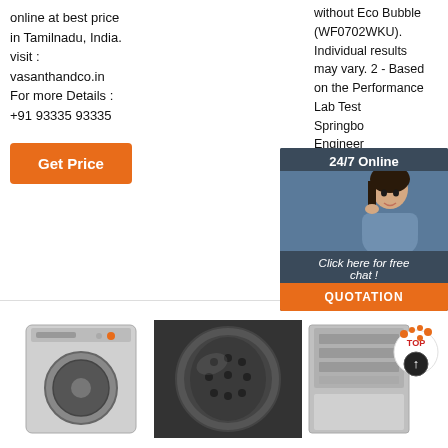online at best price in Tamilnadu, India. visit : vasanthandco.in For more Details : +91 93335 93335
Get Price
without Eco Bubble (WF0702WKU). Individual results may vary. 2 - Based on the Performance Lab Test Springbo Engineer EMPA st comparin detergen and bubb technolo mechani
[Figure (photo): 24/7 Online chat overlay with woman customer service representative photo and QUOTATION button]
Get Price
[Figure (photo): Front-loading washing machine appliance photo]
[Figure (photo): Washing machine drum interior close-up photo]
[Figure (photo): Dishwasher with TOP badge overlay photo]